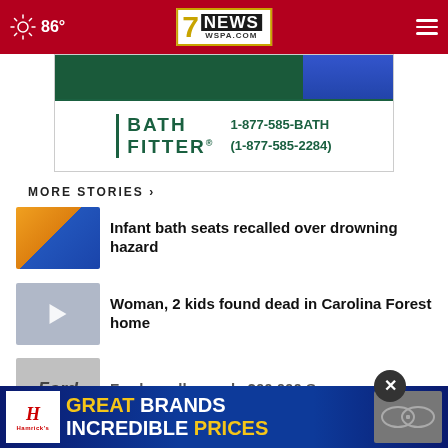86° | 7NEWS WSPA.COM
[Figure (photo): Bath Fitter advertisement banner with teal/green logo, phone number 1-877-585-BATH (1-877-585-2284)]
MORE STORIES ›
Infant bath seats recalled over drowning hazard
Woman, 2 kids found dead in Carolina Forest home
Ford recalls nearly 200,000 SUVs over
[Figure (photo): Hamrick's advertisement: GREAT BRANDS INCREDIBLE PRICES]
Strollers recalled due to amputation